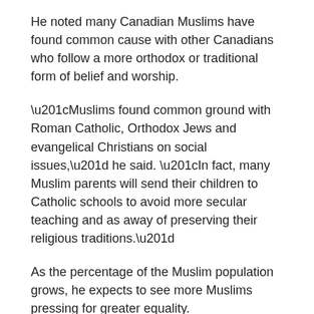He noted many Canadian Muslims have found common cause with other Canadians who follow a more orthodox or traditional form of belief and worship.
“Muslims found common ground with Roman Catholic, Orthodox Jews and evangelical Christians on social issues,” he said. “In fact, many Muslim parents will send their children to Catholic schools to avoid more secular teaching and as away of preserving their religious traditions.”
As the percentage of the Muslim population grows, he expects to see more Muslims pressing for greater equality.
“Our schools now run on a Christian calendar. We give time off for Christmas and Easter. But soon Muslim parents will ask, ‘What about us?’ ”